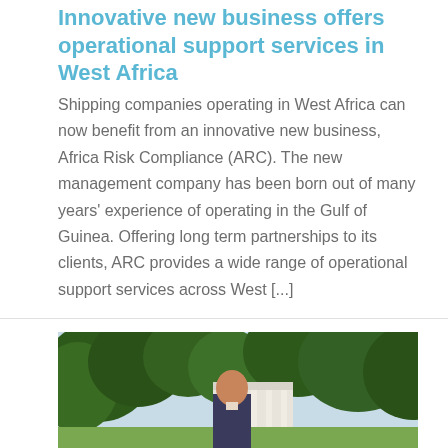Innovative new business offers operational support services in West Africa
Shipping companies operating in West Africa can now benefit from an innovative new business, Africa Risk Compliance (ARC). The new management company has been born out of many years' experience of operating in the Gulf of Guinea. Offering long term partnerships to its clients, ARC provides a wide range of operational support services across West [...]
[Figure (photo): Outdoor photo of a man standing in front of trees and a building with white columns, taken in a garden or estate setting.]